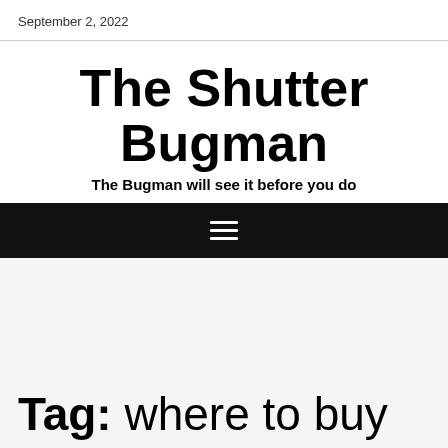September 2, 2022
The Shutter Bugman
The Bugman will see it before you do
[Figure (other): Hamburger menu icon (three horizontal white lines on black background navigation bar)]
Tag: where to buy